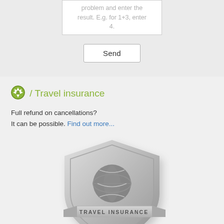problem and enter the result. E.g. for 1+3, enter 4.
Send
⚽ / Travel insurance
Full refund on cancellations? It can be possible. Find out more...
[Figure (illustration): Travel insurance shield badge with globe/swirl logo and 'TRAVEL INSURANCE' banner ribbon, rendered in silver/grey tones]